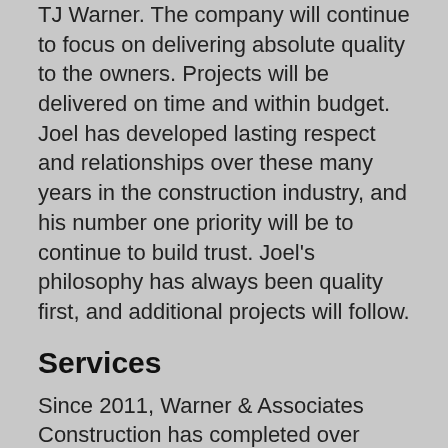TJ Warner. The company will continue to focus on delivering absolute quality to the owners. Projects will be delivered on time and within budget. Joel has developed lasting respect and relationships over these many years in the construction industry, and his number one priority will be to continue to build trust. Joel’s philosophy has always been quality first, and additional projects will follow.
Services
Since 2011, Warner & Associates Construction has completed over $180 million as a Construction Manager/General Contractor, Competitive Bidding, and Design-Build.
Licensing